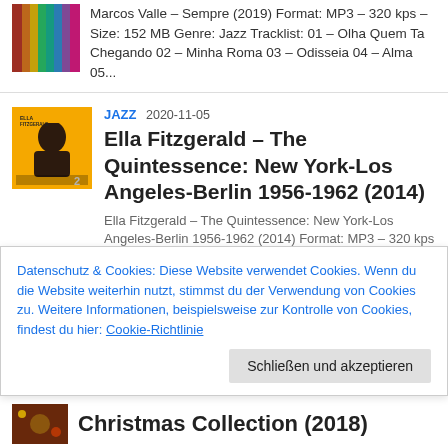[Figure (photo): Partial album cover thumbnail visible at top of page (colorful striped image, partially cropped)]
Marcos Valle – Sempre (2019) Format: MP3 – 320 kps – Size: 152 MB Genre: Jazz Tracklist: 01 – Olha Quem Ta Chegando 02 – Minha Roma 03 – Odisseia 04 – Alma 05...
[Figure (photo): Ella Fitzgerald – The Quintessence album cover: yellow background with portrait of Ella Fitzgerald and text 'ELLA FITZGERALD', number 2 at bottom right]
JAZZ 2020-11-05
Ella Fitzgerald – The Quintessence: New York-Los Angeles-Berlin 1956-1962 (2014)
Ella Fitzgerald – The Quintessence: New York-Los Angeles-Berlin 1956-1962 (2014) Format: MP3 – 320 kps
Datenschutz & Cookies: Diese Website verwendet Cookies. Wenn du die Website weiterhin nutzt, stimmst du der Verwendung von Cookies zu. Weitere Informationen, beispielsweise zur Kontrolle von Cookies, findest du hier: Cookie-Richtlinie
Schließen und akzeptieren
[Figure (photo): Partial thumbnail of a Christmas themed album cover at bottom of page]
Christmas Collection (2018)